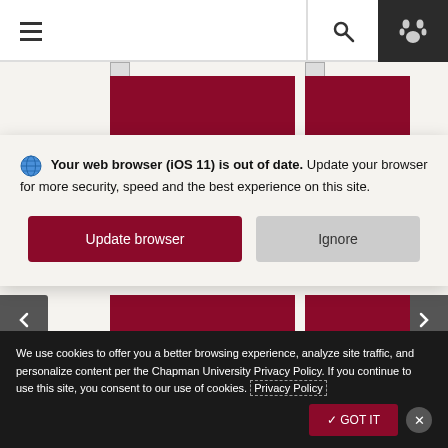Navigation bar with hamburger menu, search, and paw icon
[Figure (screenshot): Chapman University website with maroon image blocks visible behind overlays]
🌐 Your web browser (iOS 11) is out of date. Update your browser for more security, speed and the best experience on this site.
Update browser
Ignore
We use cookies to offer you a better browsing experience, analyze site traffic, and personalize content per the Chapman University Privacy Policy. If you continue to use this site, you consent to our use of cookies. Privacy Policy
✓ GOT IT